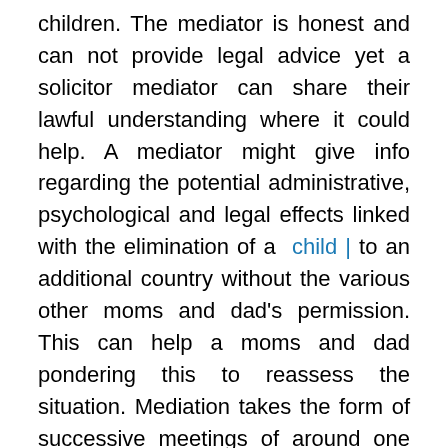children. The mediator is honest and can not provide legal advice yet a solicitor mediator can share their lawful understanding where it could help. A mediator might give info regarding the potential administrative, psychological and legal effects linked with the elimination of a child | to an additional country without the various other moms and dad's permission. This can help a moms and dad pondering this to reassess the situation. Mediation takes the form of successive meetings of around one and half to 3 hrs long. The variety of sessions will differ depending on the scenarios. In some scenarios like the wrongful removal of a child, where